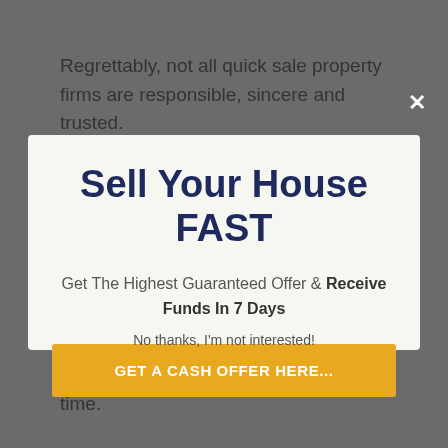Regrettably, not all quick sale property firms are responsible, sincere and trusted.
Sell Your House FAST
Get The Highest Guaranteed Offer & Receive Funds In 7 Days
GET A CASH OFFER HERE...
No thanks, I'm not interested!
are an authentic cash customer who can purchase your residential property directly, within your selected amount of time.